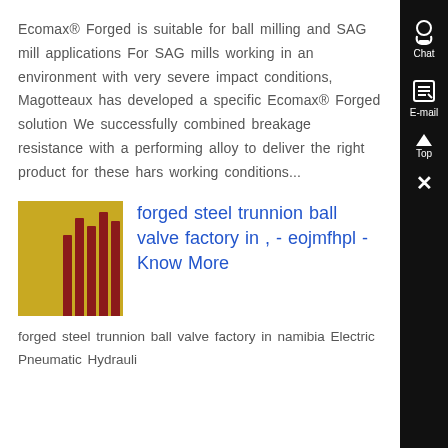Ecomax® Forged is suitable for ball milling and SAG mill applications For SAG mills working in an environment with very severe impact conditions, Magotteaux has developed a specific Ecomax® Forged solution We successfully combined breakage resistance with a performing alloy to deliver the right product for these harsh working conditions...
[Figure (photo): Thumbnail photo showing yellow/gold industrial equipment with dark red vertical bars or rods]
forged steel trunnion ball valve factory in , - eojmfhpl - Know More
forged steel trunnion ball valve factory in namibia Electric Pneumatic Hydrauli...